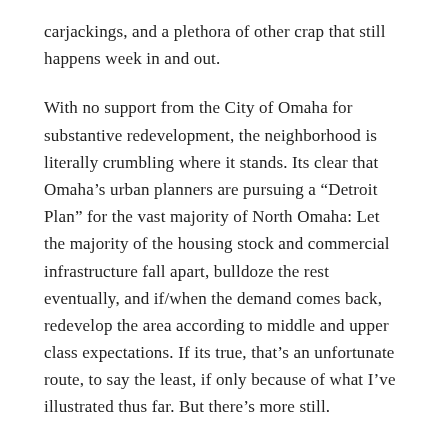carjackings, and a plethora of other crap that still happens week in and out.
With no support from the City of Omaha for substantive redevelopment, the neighborhood is literally crumbling where it stands. Its clear that Omaha’s urban planners are pursuing a “Detroit Plan” for the vast majority of North Omaha: Let the majority of the housing stock and commercial infrastructure fall apart, bulldoze the rest eventually, and if/when the demand comes back, redevelop the area according to middle and upper class expectations. If its true, that’s an unfortunate route, to say the least, if only because of what I’ve illustrated thus far. But there’s more still.
Bright Spots in Miller Park Today